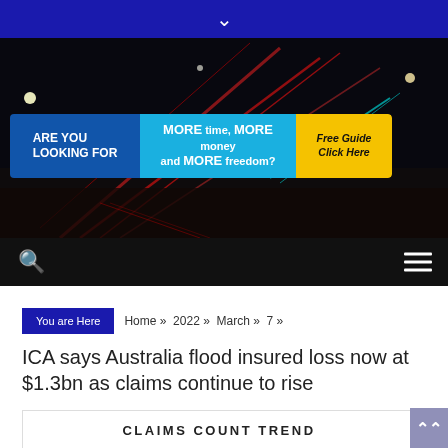▾
[Figure (photo): Dark nighttime cityscape with red and blue light streaks from traffic, serving as hero banner background]
[Figure (infographic): Advertisement banner: ARE YOU LOOKING FOR MORE time, MORE money and MORE freedom? Free Guide Click Here]
[Figure (infographic): Navigation bar with search icon (magnifying glass) and hamburger menu icon on black background]
You are Here  Home » 2022 » March » 7 »
ICA says Australia flood insured loss now at $1.3bn as claims continue to rise
CLAIMS COUNT TREND